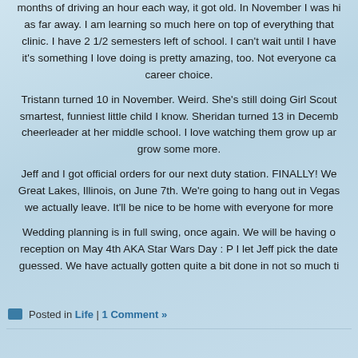months of driving an hour each way, it got old. In November I was hired as far away. I am learning so much here on top of everything that clinic. I have 2 1/2 semesters left of school. I can't wait until I have it's something I love doing is pretty amazing, too. Not everyone can career choice.
Tristann turned 10 in November. Weird. She's still doing Girl Scouts smartest, funniest little child I know. Sheridan turned 13 in December cheerleader at her middle school. I love watching them grow up and grow some more.
Jeff and I got official orders for our next duty station. FINALLY! We Great Lakes, Illinois, on June 7th. We're going to hang out in Vegas we actually leave. It'll be nice to be home with everyone for more
Wedding planning is in full swing, once again. We will be having our reception on May 4th AKA Star Wars Day : P I let Jeff pick the date, guessed. We have actually gotten quite a bit done in not so much time
Posted in Life | 1 Comment »
The Past Year
January 17th, 2012 | Author: Ashley